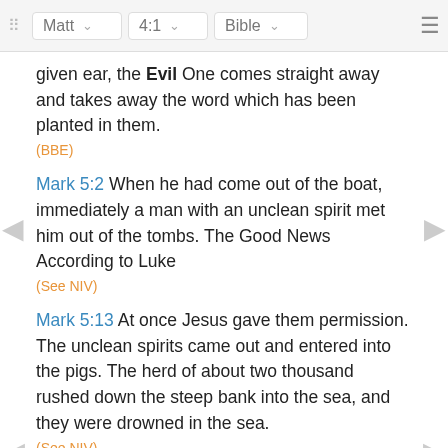Matt  4:1  Bible
given ear, the Evil One comes straight away and takes away the word which has been planted in them.
(BBE)
Mark 5:2 When he had come out of the boat, immediately a man with an unclean spirit met him out of the tombs. The Good News According to Luke
(See NIV)
Mark 5:13 At once Jesus gave them permission. The unclean spirits came out and entered into the pigs. The herd of about two thousand rushed down the steep bank into the sea, and they were drowned in the sea.
(See NIV)